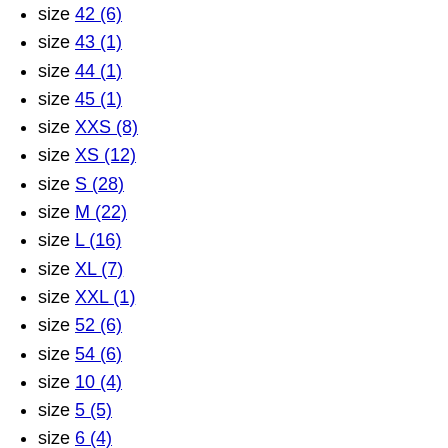size 42 (6)
size 43 (1)
size 44 (1)
size 45 (1)
size XXS (8)
size XS (12)
size S (28)
size M (22)
size L (16)
size XL (7)
size XXL (1)
size 52 (6)
size 54 (6)
size 10 (4)
size 5 (5)
size 6 (4)
size 8 (4)
size 60 (4)
size 62 (2)
size U (66)
Gender
Women (19)
Men (4)